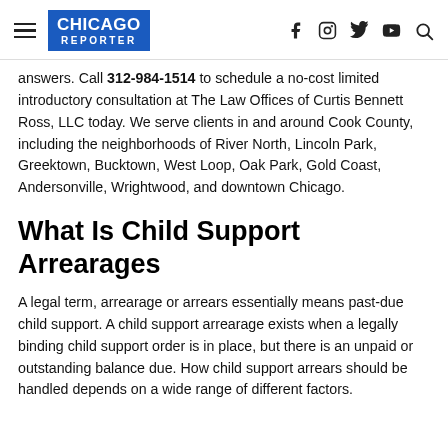Chicago Reporter
answers. Call 312-984-1514 to schedule a no-cost limited introductory consultation at The Law Offices of Curtis Bennett Ross, LLC today. We serve clients in and around Cook County, including the neighborhoods of River North, Lincoln Park, Greektown, Bucktown, West Loop, Oak Park, Gold Coast, Andersonville, Wrightwood, and downtown Chicago.
What Is Child Support Arrearages
A legal term, arrearage or arrears essentially means past-due child support. A child support arrearage exists when a legally binding child support order is in place, but there is an unpaid or outstanding balance due. How child support arrears should be handled depends on a wide range of different factors.